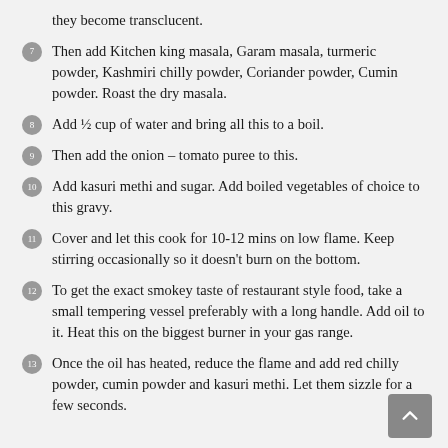they become transclucent.
7. Then add Kitchen king masala, Garam masala, turmeric powder, Kashmiri chilly powder, Coriander powder, Cumin powder. Roast the dry masala.
8. Add ½ cup of water and bring all this to a boil.
9. Then add the onion – tomato puree to this.
10. Add kasuri methi and sugar. Add boiled vegetables of choice to this gravy.
11. Cover and let this cook for 10-12 mins on low flame. Keep stirring occasionally so it doesn't burn on the bottom.
12. To get the exact smokey taste of restaurant style food, take a small tempering vessel preferably with a long handle. Add oil to it. Heat this on the biggest burner in your gas range.
13. Once the oil has heated, reduce the flame and add red chilly powder, cumin powder and kasuri methi. Let them sizzle for a few seconds.